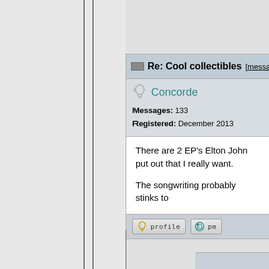Re: Cool collectibles [message #93...]
Concorde
Messages: 133
Registered: December 2013
There are 2 EP's Elton John put out that I really want.

The songwriting probably stinks to
[Figure (screenshot): Profile and PM action buttons at bottom of forum post]